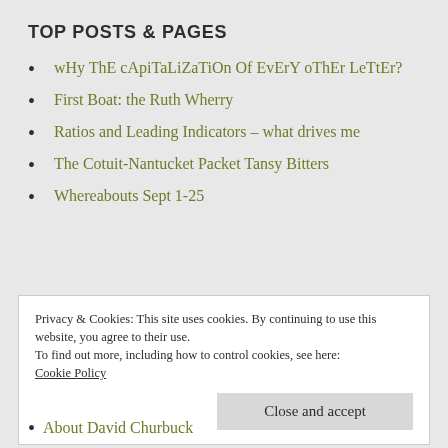TOP POSTS & PAGES
wHy ThE cApiTaLiZaTiOn Of EvErY oThEr LeTtEr?
First Boat: the Ruth Wherry
Ratios and Leading Indicators – what drives me
The Cotuit-Nantucket Packet Tansy Bitters
Whereabouts Sept 1-25
Privacy & Cookies: This site uses cookies. By continuing to use this website, you agree to their use.
To find out more, including how to control cookies, see here: Cookie Policy
Close and accept
About David Churbuck